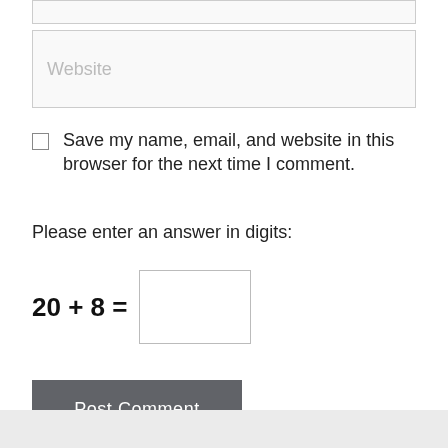[Figure (screenshot): A Website text input field with placeholder text 'Website' and light gray background]
Save my name, email, and website in this browser for the next time I comment.
Please enter an answer in digits:
Post Comment